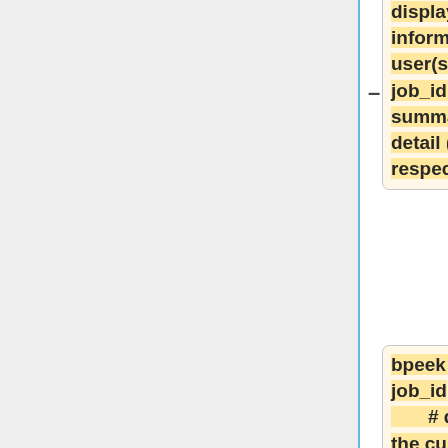displays job information per user(s) or job_id, in summary or detail (-l) form, respectively.
bpeek [-f] job_id # displays the current contents of stdout and stderr output of an executing job.
bkill job_id # kills, suspends, or resumes unfinished jobs.